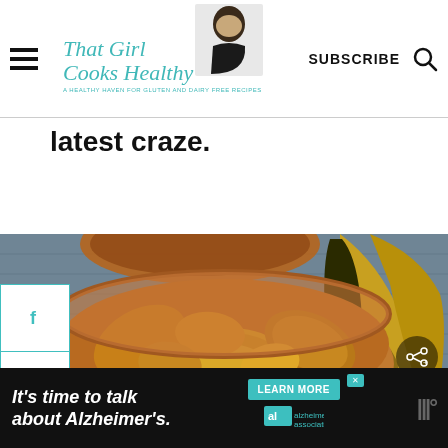That Girl Cooks Healthy — A healthy haven for gluten and dairy free recipes | SUBSCRIBE
latest craze.
[Figure (photo): Bowl of fried plantain chips/slices with whole plantains in the background on a blue textile]
[Figure (other): Social media share sidebar with Facebook, Twitter, Pinterest icons]
WHAT'S NEXT → Sweet Potato Pie Smoothi...
[Figure (other): Advertisement banner: It's time to talk about Alzheimer's. LEARN MORE. Alzheimer's association logo.]